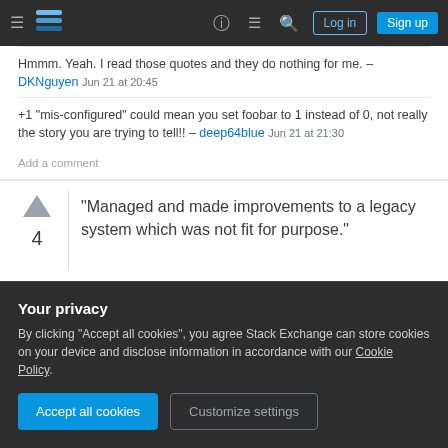[Figure (screenshot): Stack Exchange navigation bar with hamburger menu, logo, icons, Log in and Sign up buttons]
Hmmm. Yeah. I read those quotes and they do nothing for me. – DKNguyen Jun 21 at 20:45
+1 "mis-configured" could mean you set foobar to 1 instead of 0, not really the story you are trying to tell!! – deep64blue Jun 21 at 21:30
Add a comment
"Managed and made improvements to a legacy system which was not fit for purpose."
Your privacy
By clicking "Accept all cookies", you agree Stack Exchange can store cookies on your device and disclose information in accordance with our Cookie Policy.
Accept all cookies
Customize settings